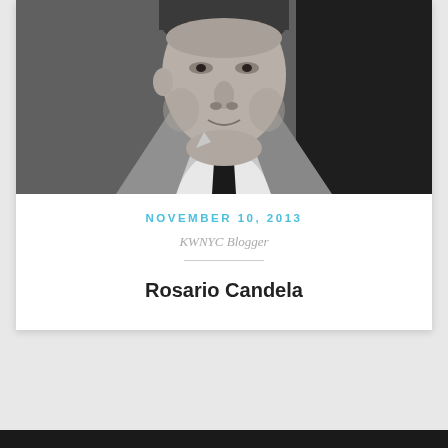[Figure (photo): Black and white portrait photograph of a man in a suit and tie, cropped at upper torso, vintage style]
November 10, 2013
KWNYC Blogger
Rosario Candela